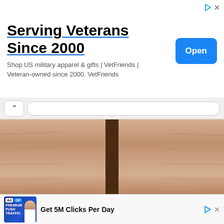[Figure (screenshot): Top advertisement banner: 'Serving Veterans Since 2000' with blue underline, subtitle 'Shop US military apparel & gifts | VetFriends | Veteran-owned since 2000. VetFriends', blue Open button on right, play/close icons top right]
[Figure (screenshot): Browser navigation bar with back chevron and search/address bar]
[Figure (photo): Close-up photo of two human legs/knees from above against a wooden background]
Do This Once Every Morning To Clear Toenail Fungus
Fungus Eliminator | Sponsored
[Figure (illustration): Cartoon/comic illustration of a hand with a dropper or tool near a toenail, close-up medical illustration style]
[Figure (screenshot): Bottom advertisement bar with blue 'Ad OF PREMIUM PUSH TRAFFIC' badge image on left and 'Get 5M Clicks Per Day' text, with play and close icons]